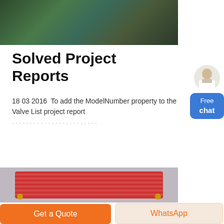[Figure (photo): Industrial machinery in a factory setting, green equipment visible]
Solved Project Reports
18 03 2016  To add the ModelNumber property to the Valve List project report
Click to chat
[Figure (photo): Red ribbed industrial component, possibly a heat exchanger or solar panel, with gold fittings]
Get a Quote
WhatsApp